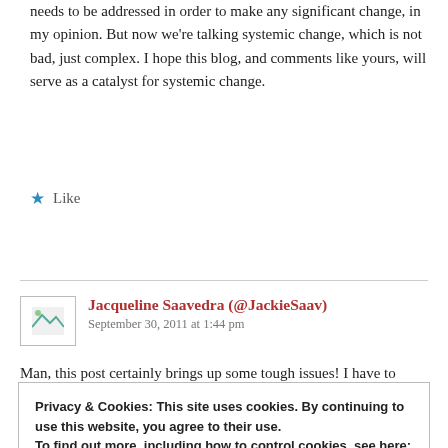needs to be addressed in order to make any significant change, in my opinion. But now we're talking systemic change, which is not bad, just complex. I hope this blog, and comments like yours, will serve as a catalyst for systemic change.
★ Like
Reply
Jacqueline Saavedra (@JackieSaav)
September 30, 2011 at 1:44 pm
Man, this post certainly brings up some tough issues! I have to
Privacy & Cookies: This site uses cookies. By continuing to use this website, you agree to their use.
To find out more, including how to control cookies, see here:
Cookie Policy
Close and accept
employment. The group has to shrink at one point...